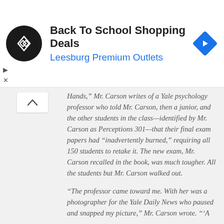[Figure (screenshot): Advertisement banner for Back To School Shopping Deals at Leesburg Premium Outlets, with a circular logo on the left, ad text in the center, and a blue diamond navigation arrow icon on the right. Small play and close controls on the far left.]
Hands,” Mr. Carson writes of a Yale psychology professor who told Mr. Carson, then a junior, and the other students in the class—identified by Mr. Carson as Perceptions 301—that their final exam papers had “inadvertently burned,” requiring all 150 students to retake it. The new exam, Mr. Carson recalled in the book, was much tougher. All the students but Mr. Carson walked out.
“The professor came toward me. With her was a photographer for the Yale Daily News who paused and snapped my picture,” Mr. Carson wrote. “‘A